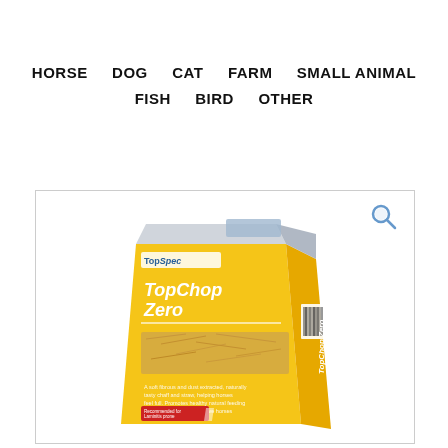HORSE   DOG   CAT   FARM   SMALL ANIMAL   FISH   BIRD   OTHER
[Figure (photo): Product image of a yellow bag of TopChop Zero horse feed by TopSpec, shown at an angle with text on the front and side panel, with a barcode and red label at the bottom. A magnifier icon is in the top-right corner of the image box.]